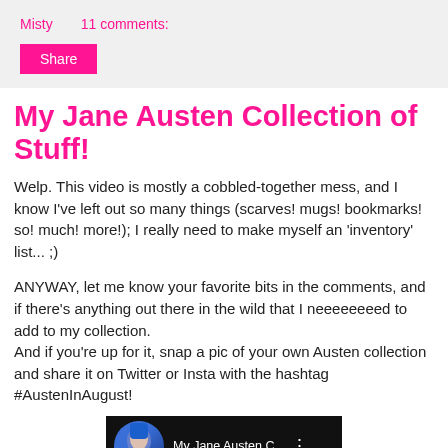Misty    11 comments:
Share
My Jane Austen Collection of Stuff!
Welp. This video is mostly a cobbled-together mess, and I know I've left out so many things (scarves! mugs! bookmarks! so! much! more!); I really need to make myself an 'inventory' list... ;)
ANYWAY, let me know your favorite bits in the comments, and if there's anything out there in the wild that I neeeeeeeed to add to my collection.
And if you're up for it, snap a pic of your own Austen collection and share it on Twitter or Insta with the hashtag #AustenInAugust!
[Figure (screenshot): Video thumbnail showing a person with blue hair, title 'My Jane Austen C...' on dark background with menu dots icon]